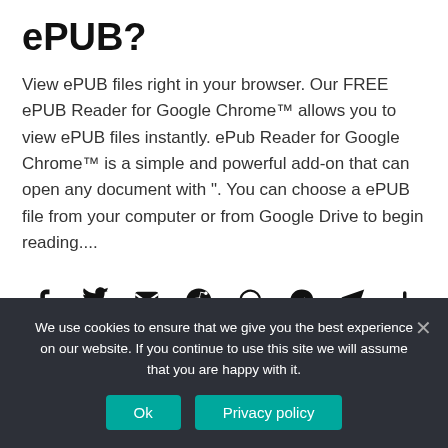ePUB?
View ePUB files right in your browser. Our FREE ePUB Reader for Google Chrome™ allows you to view ePUB files instantly. ePub Reader for Google Chrome™ is a simple and powerful add-on that can open any document with ". You can choose a ePUB file from your computer or from Google Drive to begin reading....
[Figure (infographic): Row of social sharing icons: Facebook, Twitter, Email, Reddit, WhatsApp, Messenger, Telegram, and a plus/more button]
We use cookies to ensure that we give you the best experience on our website. If you continue to use this site we will assume that you are happy with it.